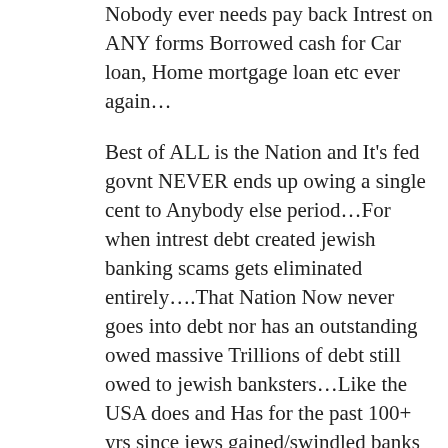Nobody ever needs pay back Intrest on ANY forms Borrowed cash for Car loan, Home mortgage loan etc ever again…
Best of ALL is the Nation and It's fed govnt NEVER ends up owing a single cent to Anybody else period…For when intrest debt created jewish banking scams gets eliminated entirely….That Nation Now never goes into debt nor has an outstanding owed massive Trillions of debt still owed to jewish banksters…Like the USA does and Has for the past 100+ yrs since jews gained/swindled banks conrol in 1913…with much quite secret help from crook demacRATS of cource…Prez Wilson and Crew…
if Germany could do that in LESS than 5 years time frame during the worst